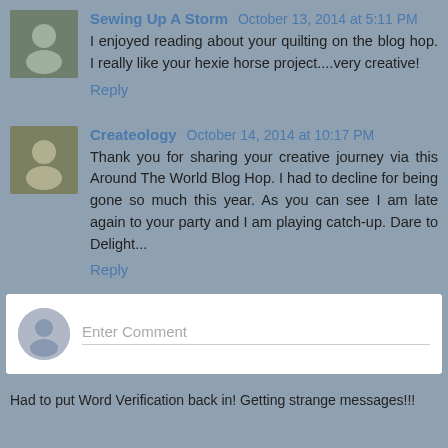Sewing Up A Storm  October 13, 2014 at 5:11 PM
I enjoyed reading about your quilting on the blog hop. I really like your hexie horse project....very creative!
Reply
Createology  October 14, 2014 at 10:17 PM
Thank you for sharing your creative journey via this Around The World Blog Hop. I had to decline for being gone so much this year. As you can see I am late again to your party and I am playing catch-up. Dare to Delight...
Reply
[Figure (other): Comment input box with generic user avatar and 'Enter Comment' placeholder text]
Had to put Word Verification back in! Getting strange messages!!!